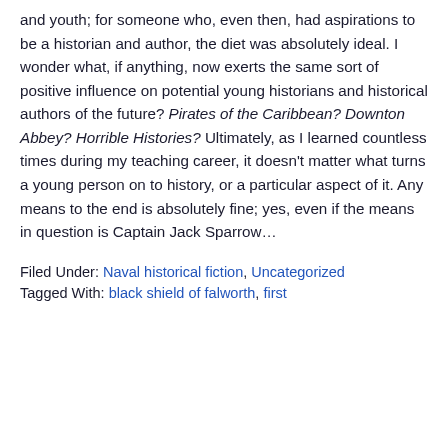and youth; for someone who, even then, had aspirations to be a historian and author, the diet was absolutely ideal. I wonder what, if anything, now exerts the same sort of positive influence on potential young historians and historical authors of the future? Pirates of the Caribbean? Downton Abbey? Horrible Histories? Ultimately, as I learned countless times during my teaching career, it doesn't matter what turns a young person on to history, or a particular aspect of it. Any means to the end is absolutely fine; yes, even if the means in question is Captain Jack Sparrow...
Filed Under: Naval historical fiction, Uncategorized
Tagged With: black shield of falworth, first